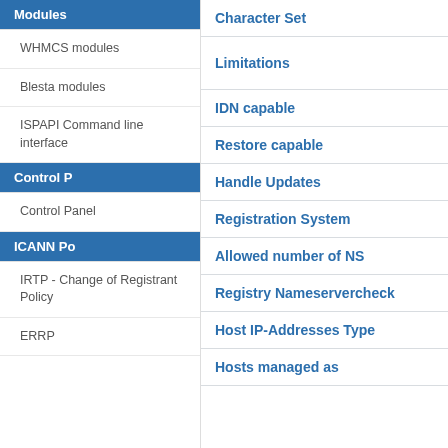Modules
WHMCS modules
Blesta modules
ISPAPI Command line interface
Control P
Control Panel
ICANN Po
IRTP - Change of Registrant Policy
ERRP
Character Set
Limitations
IDN capable
Restore capable
Handle Updates
Registration System
Allowed number of NS
Registry Nameservercheck
Host IP-Addresses Type
Hosts managed as